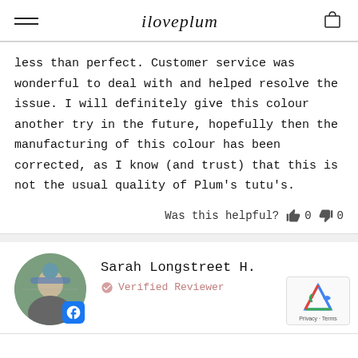iloveplum
less than perfect. Customer service was wonderful to deal with and helped resolve the issue. I will definitely give this colour another try in the future, hopefully then the manufacturing of this colour has been corrected, as I know (and trust) that this is not the usual quality of Plum's tutu's.
Was this helpful? 👍 0 👎 0
Sarah Longstreet H. — Verified Reviewer